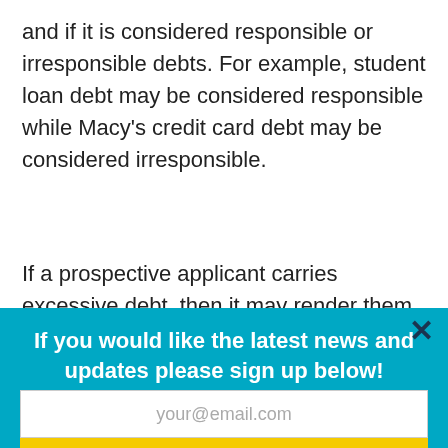and if it is considered responsible or irresponsible debts. For example, student loan debt may be considered responsible while Macy's credit card debt may be considered irresponsible.
If a prospective applicant carries excessive debt, then it may render them unable to handle rent along with all of their other financial obligations.
If you would like the latest news and updates please sign up below!
your@email.com
Signup Today
income ratio when considering debt load. Landlords typically look to see that a